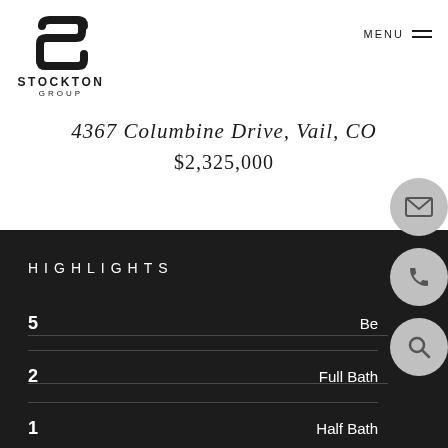[Figure (logo): Stockton Group logo — stylized S lettermark above STOCKTON GROUP text]
MENU
4367 Columbine Drive, Vail, CO
$2,325,000
HIGHLIGHTS
|  |  |
| --- | --- |
| 5 | Bedrooms |
| 2 | Full Baths |
| 1 | Half Bath |